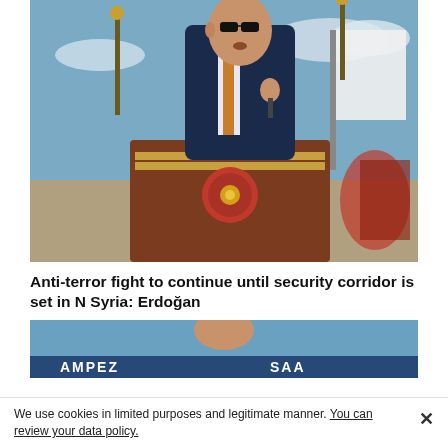[Figure (photo): A man in a dark suit and sunglasses speaking at a podium with a red emblem, with microphones in front and a white flag and ornate decorations in the background, outdoors under a blue sky.]
Anti-terror fight to continue until security corridor is set in N Syria: Erdoğan
[Figure (photo): Partial view of another outdoor photo, showing a blue sky and partial text banners at the bottom edge.]
We use cookies in limited purposes and legitimate manner. You can review your data policy.